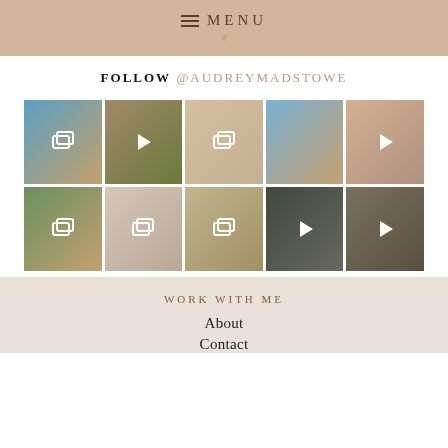MENU
FOLLOW @AUDREYMADSTOWE
[Figure (photo): Instagram feed grid showing 10 photos/videos in a 5x2 layout: beach photo, video, outdoor photo, beach photo, video, outdoor photo, bedroom photo, outdoor video, store video, close-up video]
WORK WITH ME
About
Contact